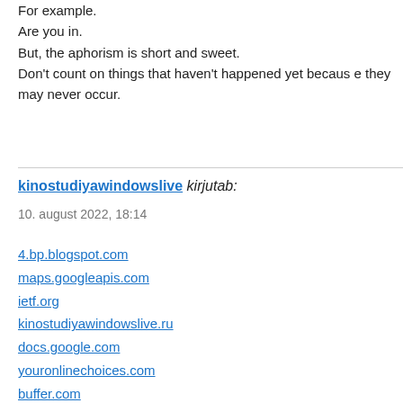For example.
Are you in.
But, the aphorism is short and sweet.
Don't count on things that haven't happened yet because they may never occur.
kinostudiyawindowslive kirjutab:
10. august 2022, 18:14
4.bp.blogspot.com
maps.googleapis.com
ietf.org
kinostudiyawindowslive.ru
docs.google.com
youronlinechoices.com
buffer.com
billboard.com
pcworld.com